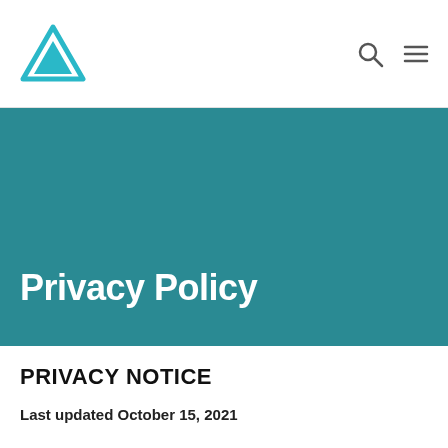Privacy Policy — website navigation header with logo and icons
Privacy Policy
PRIVACY NOTICE
Last updated October 15, 2021